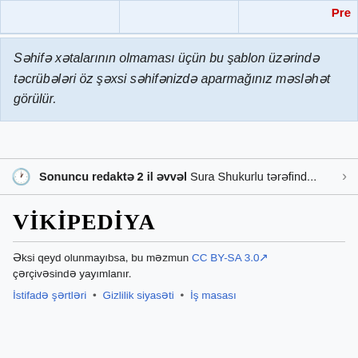|  |  | Pre |
| --- | --- | --- |
|   |   |   |
Səhifə xətalarının olmaması üçün bu şablon üzərində təcrübələri öz şəxsi səhifənizdə aparmağınız məsləhət görülür.
Sonuncu redaktə 2 il əvvəl Sura Shukurlu tərəfind...
VİKİPEDİYA
Əksi qeyd olunmayıbsa, bu məzmun CC BY-SA 3.0 çərçivəsində yayımlanır.
İstifadə şərtləri • Gizlilik siyasəti • İş masası